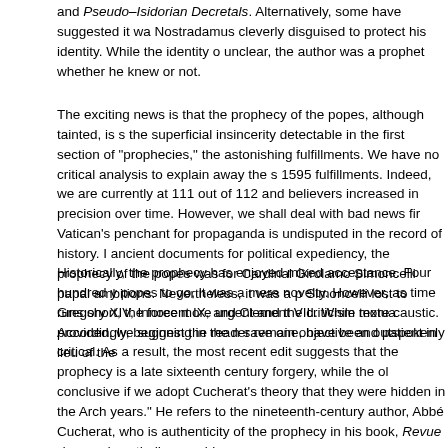and Pseudo–Isidorian Decretals. Alternatively, some have suggested it was Nostradamus cleverly disguised to protect his identity. While the identity of unclear, the author was a prophet whether he knew or not.
The exciting news is that the prophecy of the popes, although tainted, is s the superficial insincerity detectable in the first section of "prophecies," the astonishing fulfillments. We have no critical analysis to explain away the s 1595 fulfillments. Indeed, we are currently at 111 out of 112 and believers increased in precision over time. However, we shall deal with bad news fir Vatican's penchant for propaganda is undisputed in the record of history. I ancient documents for political expediency, the prophecy of the popes was for Cardinal Girolamo Simoncelli papal ambitions. Nevertheless, it was a p Simoncelli lost to Gregory XIV, Innocent IX, and Clement VIII. While textua provided, we suggest the reader remain objective and patient in lieu of the
Historically, the prophecy has enjoyed mixed acceptance. Four hundred y popes to go, it was a mere novelty. However, as time runs short, the fore more urgent and the criticism more caustic. Accordingly, beginning in the n save one, have been outspokenly critical. As a result, the most recent edit suggests that the prophecy is a late sixteenth century forgery, while the ol conclusive if we adopt Cucherat's theory that they were hidden in the Arch years." He refers to the nineteenth-century author, Abbé Cucherat, who is authenticity of the prophecy in his book, Revue du monde catholique, publ